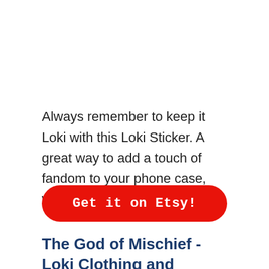Always remember to keep it Loki with this Loki Sticker. A great way to add a touch of fandom to your phone case, water bottle.
Get it on Etsy!
The God of Mischief - Loki Clothing and Accessories